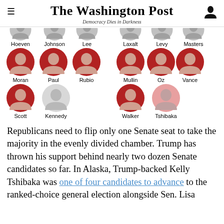The Washington Post — Democracy Dies in Darkness
[Figure (infographic): Grid of Republican Senate candidate profile icons with names: Hoeven, Johnson, Lee, Laxalt, Levy, Masters (partial top row), Moran, Paul, Rubio (red icons), Mullin, Oz, Vance (red icons), Scott (red), Kennedy (gray/white), Walker (red), Tshibaka (pink/light red)]
Republicans need to flip only one Senate seat to take the majority in the evenly divided chamber. Trump has thrown his support behind nearly two dozen Senate candidates so far. In Alaska, Trump-backed Kelly Tshibaka was one of four candidates to advance to the ranked-choice general election alongside Sen. Lisa